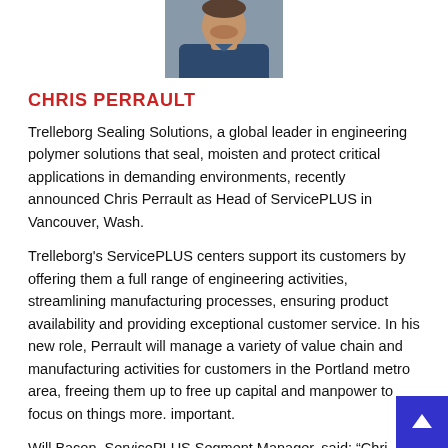[Figure (photo): Headshot photo of Chris Perrault, a man wearing a dark blue shirt]
CHRIS PERRAULT
Trelleborg Sealing Solutions, a global leader in engineering polymer solutions that seal, moisten and protect critical applications in demanding environments, recently announced Chris Perrault as Head of ServicePLUS in Vancouver, Wash.
Trelleborg's ServicePLUS centers support its customers by offering them a full range of engineering activities, streamlining manufacturing processes, ensuring product availability and providing exceptional customer service. In his new role, Perrault will manage a variety of value chain and manufacturing activities for customers in the Portland metro area, freeing them up to free up capital and manpower to focus on things more. important.
Will Bacon, ServicePLUS Segment Manager, said: “Chri...